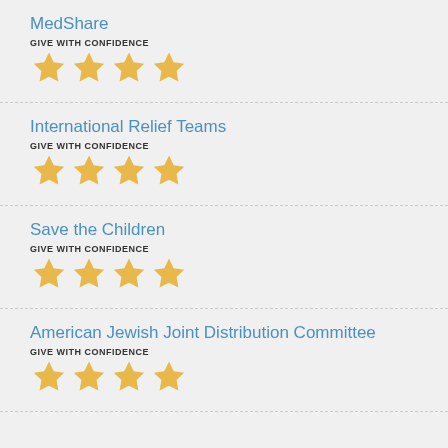MedShare
GIVE WITH CONFIDENCE
★★★★
International Relief Teams
GIVE WITH CONFIDENCE
★★★★
Save the Children
GIVE WITH CONFIDENCE
★★★★
American Jewish Joint Distribution Committee
GIVE WITH CONFIDENCE
★★★★